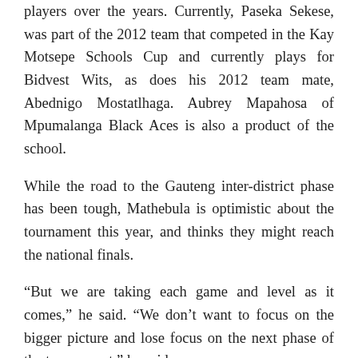players over the years. Currently, Paseka Sekese, was part of the 2012 team that competed in the Kay Motsepe Schools Cup and currently plays for Bidvest Wits, as does his 2012 team mate, Abednigo Mostatlhaga. Aubrey Mapahosa of Mpumalanga Black Aces is also a product of the school.
While the road to the Gauteng inter-district phase has been tough, Mathebula is optimistic about the tournament this year, and thinks they might reach the national finals.
“But we are taking each game and level as it comes,” he said. “We don’t want to focus on the bigger picture and lose focus on the next phase of the tournament,” he said.
There are several star players in the 2015 team. Two of them: Siyabongakonke Mbatha and Edwin Sikhwama played for the under-17 national team at the 2015 CAF U-17 African Youth Championships, while